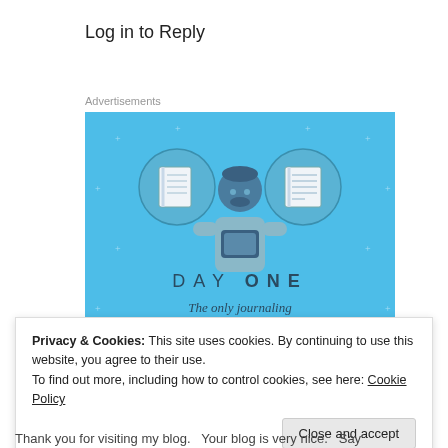Log in to Reply
Advertisements
[Figure (illustration): Day One journaling app advertisement. Blue background with illustration of a person holding a phone, flanked by two circle icons showing notebook and list. Text reads 'DAY ONE - The only journaling app you'll ever need.' with a dark button at bottom.]
Privacy & Cookies: This site uses cookies. By continuing to use this website, you agree to their use.
To find out more, including how to control cookies, see here: Cookie Policy
Close and accept
Thank you for visiting my blog.   Your blog is very nice.   Say